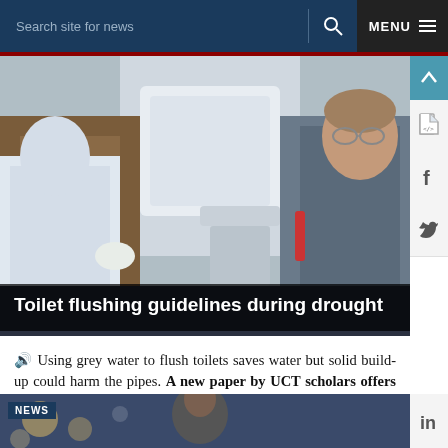Search site for news  MENU
[Figure (photo): Two people in lab coats examining a toilet cistern/plumbing system]
Toilet flushing guidelines during drought
🔊 Using grey water to flush toilets saves water but solid build-up could harm the pipes. A new paper by UCT scholars offers some practical solutions for water...
08 JUL 2019 - 7 min read
[Figure (photo): Partial view of a second news card image showing a person, with a NEWS badge overlay]